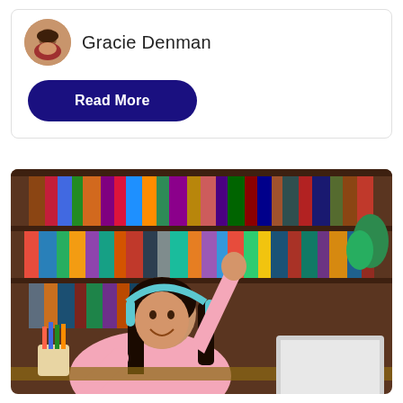Gracie Denman
Read More
[Figure (photo): A young girl with teal headphones wearing a pink sweater raises her hand and smiles while sitting at a desk with a laptop, pencils in a holder, in front of a large bookshelf filled with books.]